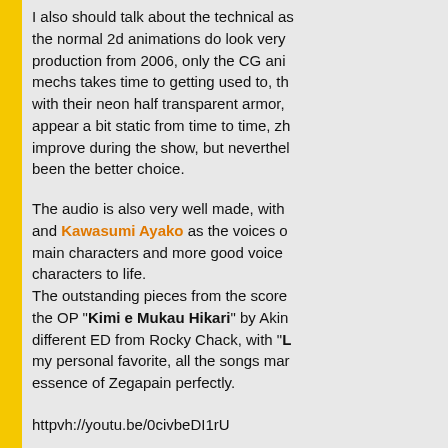I also should talk about the technical as the normal 2d animations do look very production from 2006, only the CG ani mechs takes time to getting used to, th with their neon half transparent armor, appear a bit static from time to time, zh improve during the show, but neverthel been the better choice.
The audio is also very well made, with and Kawasumi Ayako as the voices o main characters and more good voice characters to life. The outstanding pieces from the score the OP “Kimi e Mukau Hikari” by Akin different ED from Rocky Chack, with “L my personal favorite, all the songs mar essence of Zegapain perfectly.
httpvh://youtu.be/0civbeDI1rU